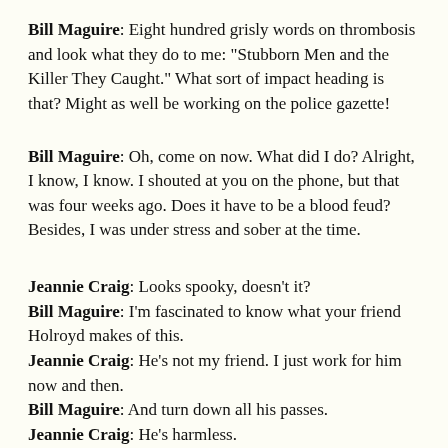Bill Maguire: Eight hundred grisly words on thrombosis and look what they do to me: "Stubborn Men and the Killer They Caught." What sort of impact heading is that? Might as well be working on the police gazette!
Bill Maguire: Oh, come on now. What did I do? Alright, I know, I know. I shouted at you on the phone, but that was four weeks ago. Does it have to be a blood feud? Besides, I was under stress and sober at the time.
Jeannie Craig: Looks spooky, doesn't it?
Bill Maguire: I'm fascinated to know what your friend Holroyd makes of this.
Jeannie Craig: He's not my friend. I just work for him now and then.
Bill Maguire: And turn down all his passes.
Jeannie Craig: He's harmless.
Bill Maguire: Nobody's harmless. Not if they're normal.
Jeannie Craig: And you're normal?